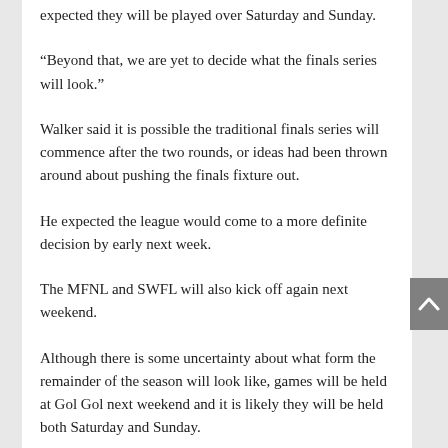expected they will be played over Saturday and Sunday.
“Beyond that, we are yet to decide what the finals series will look.”
Walker said it is possible the traditional finals series will commence after the two rounds, or ideas had been thrown around about pushing the finals fixture out.
He expected the league would come to a more definite decision by early next week.
The MFNL and SWFL will also kick off again next weekend.
Although there is some uncertainty about what form the remainder of the season will look like, games will be held at Gol Gol next weekend and it is likely they will be held both Saturday and Sunday.